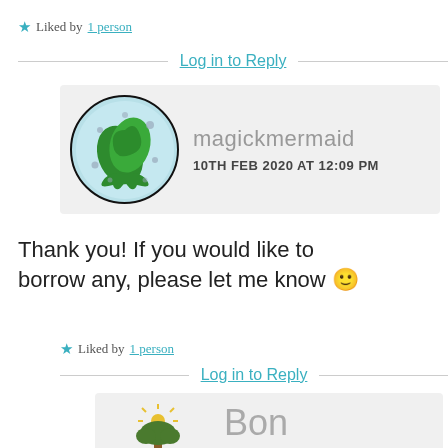★ Liked by 1 person
Log in to Reply
[Figure (illustration): Circular avatar with mermaid tail illustration on blue background with black border]
magickmermaid 10TH FEB 2020 AT 12:09 PM
Thank you! If you would like to borrow any, please let me know 🙂
★ Liked by 1 person
Log in to Reply
[Figure (logo): Bon Repos Gites logo with tree and sun illustration]
Bon Repos